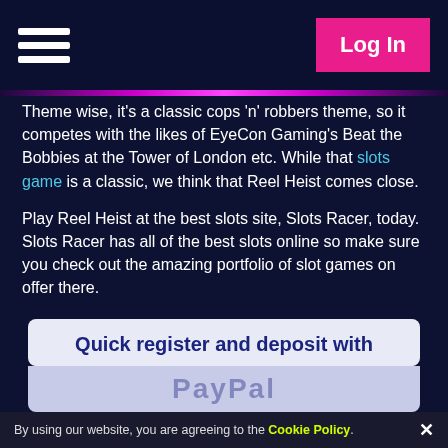Log In
Theme wise, it's a classic cops 'n' robbers theme, so it competes with the likes of EyeCon Gaming's Beat the Bobbies at the Tower of London etc. While that slots game is a classic, we think that Reel Heist comes close.
Play Reel Heist at the best slots site, Slots Racer, today. Slots Racer has all of the best slots online so make sure you check out the amazing portfolio of slot games on offer there.
Quicklinks: Rainbow Riches Pick n Mix | Mermaids Millions slot | Rainbow Riches Drops of Gold | Lucky Leprechaun Slot | Reel King Mega | 9 Pots of Gold Slots | Fishin Frenzy Jackpot King | European Roulette
Quick register and deposit with
By using our website, you are agreeing to the Cookie Policy.